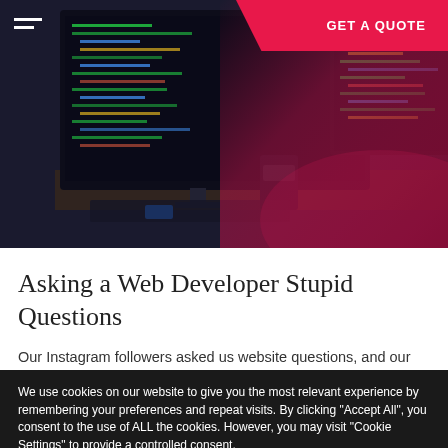[Figure (photo): Photo of a computer setup with monitors displaying code; dark environment with pink/magenta gradient overlay on the right side. Navigation hamburger menu icon top-left, GET A QUOTE button top-right.]
Asking a Web Developer Stupid Questions
Our Instagram followers asked us website questions, and our Web Developer answered!
We use cookies on our website to give you the most relevant experience by remembering your preferences and repeat visits. By clicking "Accept All", you consent to the use of ALL the cookies. However, you may visit "Cookie Settings" to provide a controlled consent.